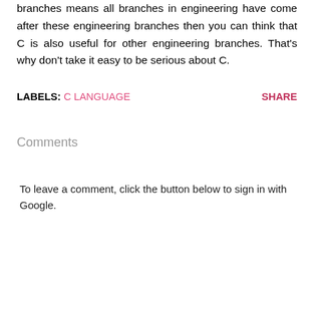branches means all branches in engineering have come after these engineering branches then you can think that C is also useful for other engineering branches. That's why don't take it easy to be serious about C.
LABELS: C LANGUAGE   SHARE
Comments
To leave a comment, click the button below to sign in with Google.
SIGN IN WITH GOOGLE